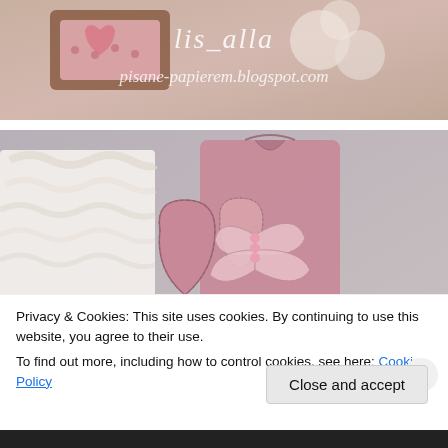[Figure (photo): Top portion of a craft/scrapbooking blog photo showing decorative paper crafts with pink elements and flowers, with blog watermark text 'lis_alla pisane-papierem.blogspot.com' overlaid in white italic script]
[Figure (photo): Main photo showing a pink paper craft creation featuring heart-shaped decorations with dotted borders, a butterfly embellishment with pink pearl beads, and white lace/fabric on the left side, photographed against a light gray background]
Privacy & Cookies: This site uses cookies. By continuing to use this website, you agree to their use.
To find out more, including how to control cookies, see here: Cookie Policy
Close and accept